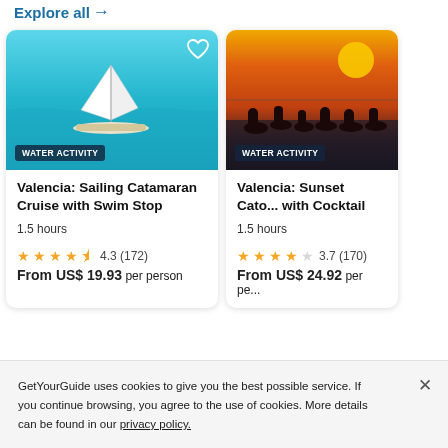Explore all →
[Figure (photo): Sailing catamaran on turquoise sea, aerial view, with heart icon overlay and WATER ACTIVITY badge]
Valencia: Sailing Catamaran Cruise with Swim Stop
1.5 hours
4.3 (172)
From US$ 19.93 per person
[Figure (photo): Group of people silhouetted against a sunset over water, with WATER ACTIVITY badge]
Valencia: Sunset Cata... with Cocktail
1.5 hours
3.7 (170)
From US$ 24.92 per pe...
GetYourGuide uses cookies to give you the best possible service. If you continue browsing, you agree to the use of cookies. More details can be found in our privacy policy.